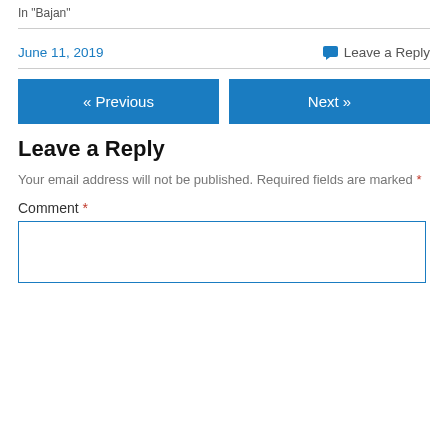In "Bajan"
June 11, 2019   💬 Leave a Reply
« Previous   Next »
Leave a Reply
Your email address will not be published. Required fields are marked *
Comment *